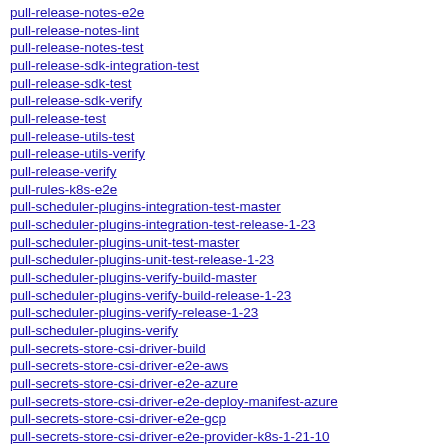pull-release-notes-e2e
pull-release-notes-lint
pull-release-notes-test
pull-release-sdk-integration-test
pull-release-sdk-test
pull-release-sdk-verify
pull-release-test
pull-release-utils-test
pull-release-utils-verify
pull-release-verify
pull-rules-k8s-e2e
pull-scheduler-plugins-integration-test-master
pull-scheduler-plugins-integration-test-release-1-23
pull-scheduler-plugins-unit-test-master
pull-scheduler-plugins-unit-test-release-1-23
pull-scheduler-plugins-verify-build-master
pull-scheduler-plugins-verify-build-release-1-23
pull-scheduler-plugins-verify-release-1-23
pull-scheduler-plugins-verify
pull-secrets-store-csi-driver-build
pull-secrets-store-csi-driver-e2e-aws
pull-secrets-store-csi-driver-e2e-azure
pull-secrets-store-csi-driver-e2e-deploy-manifest-azure
pull-secrets-store-csi-driver-e2e-gcp
pull-secrets-store-csi-driver-e2e-provider-k8s-1-21-10